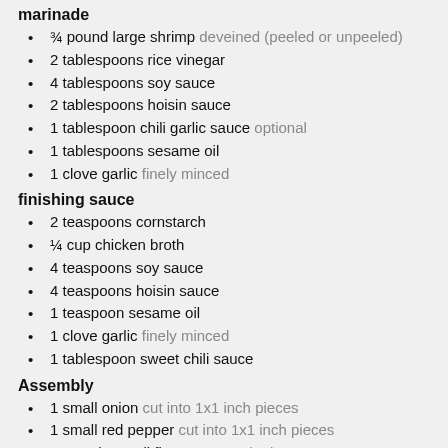marinade
¾ pound large shrimp deveined (peeled or unpeeled)
2 tablespoons rice vinegar
4 tablespoons soy sauce
2 tablespoons hoisin sauce
1 tablespoon chili garlic sauce optional
1 tablespoons sesame oil
1 clove garlic finely minced
finishing sauce
2 teaspoons cornstarch
¼ cup chicken broth
4 teaspoons soy sauce
4 teaspoons hoisin sauce
1 teaspoon sesame oil
1 clove garlic finely minced
1 tablespoon sweet chili sauce
Assembly
1 small onion cut into 1x1 inch pieces
1 small red pepper cut into 1x1 inch pieces
2 cups broccoli florets par cooked
thinly sliced green onion for garnish (optional)